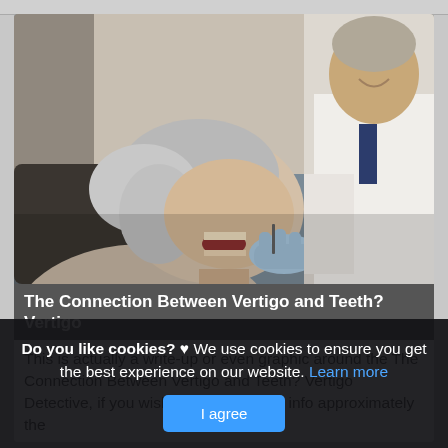[Figure (photo): An elderly woman lying back with her mouth open while an older male doctor in a white coat and blue latex gloves examines her mouth/teeth]
The Connection Between Vertigo and Teeth? Vertigo
This is actually a write-up or even graphic around the The Connection Between Vertigo and Teeth? Vertigo Detective, if you wish much a lot extra info approximately the
Do you like cookies? ♥ We use cookies to ensure you get the best experience on our website. Learn more
I agree